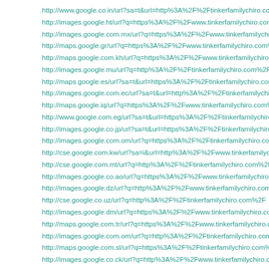http://www.google.co.in/url?sa=t&url=http%3A%2F%2Ftinkerfamilychiro.com
http://images.google.ht/url?q=https%3A%2F%2Fwww.tinkerfamilychiro.com%2F
http://images.google.com.mx/url?q=https%3A%2F%2Fwww.tinkerfamilychiro.co
http://maps.google.gr/url?q=https%3A%2F%2Fwww.tinkerfamilychiro.com%2F
http://maps.google.com.kh/url?q=https%3A%2F%2Fwww.tinkerfamilychiro.com
http://images.google.mu/url?q=http%3A%2F%2Ftinkerfamilychiro.com%2F
http://maps.google.es/url?sa=t&url=https%3A%2F%2Ftinkerfamilychiro.com/
http://images.google.com.ec/url?sa=t&url=http%3A%2F%2Ftinkerfamilychiro.co
http://maps.google.iq/url?q=https%3A%2F%2Fwww.tinkerfamilychiro.com%2F
http://www.google.com.eg/url?sa=t&url=https%3A%2F%2Ftinkerfamilychiro.com
http://images.google.co.jp/url?sa=t&url=https%3A%2F%2Ftinkerfamilychiro.com
http://images.google.com.om/url?q=https%3A%2F%2Ftinkerfamilychiro.com%2F
http://cse.google.com.kw/url?sa=i&url=http%3A%2F%2Fwww.tinkerfamilychiro.
http://cse.google.com.mt/url?q=http%3A%2F%2Ftinkerfamilychiro.com%2F
http://images.google.co.ao/url?q=https%3A%2F%2Fwww.tinkerfamilychiro.com
http://images.google.dz/url?q=http%3A%2F%2Fwww.tinkerfamilychiro.com%2F
http://cse.google.co.uz/url?q=http%3A%2F%2Ftinkerfamilychiro.com%2F
http://images.google.dm/url?q=https%3A%2F%2Fwww.tinkerfamilychiro.com%2F
http://maps.google.com.tr/url?q=https%3A%2F%2Fwww.tinkerfamilychiro.com%2F
http://images.google.com.om/url?q=http%3A%2F%2Ftinkerfamilychiro.com%2F
http://maps.google.com.sl/url?q=https%3A%2F%2Ftinkerfamilychiro.com%2F
http://images.google.co.ck/url?q=http%3A%2F%2Fwww.tinkerfamilychiro.com%2F